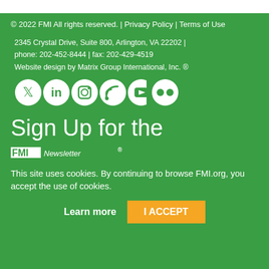© 2022 FMI All rights reserved. | Privacy Policy | Terms of Use
2345 Crystal Drive, Suite 800, Arlington, VA 22202 | phone: 202-452-8444 | fax: 202-429-4519
Website design by Matrix Group International, Inc. ®
[Figure (illustration): Social media icons: Twitter, LinkedIn, Instagram, RSS, YouTube, Flickr — white icons on white circular backgrounds on green]
Sign Up for the
[Figure (logo): FMI logo/newsletter name bar with stylized text]
This site uses cookies. By continuing to browse FMI.org, you accept the use of cookies.
Learn more  |  I ACCEPT